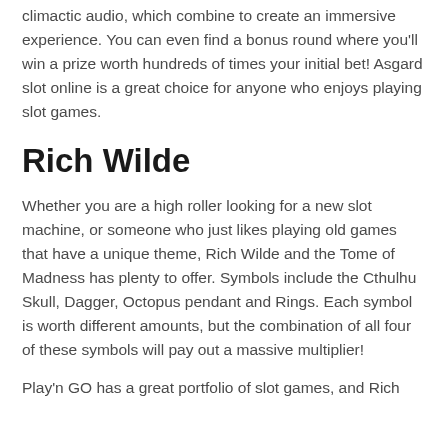climactic audio, which combine to create an immersive experience. You can even find a bonus round where you'll win a prize worth hundreds of times your initial bet! Asgard slot online is a great choice for anyone who enjoys playing slot games.
Rich Wilde
Whether you are a high roller looking for a new slot machine, or someone who just likes playing old games that have a unique theme, Rich Wilde and the Tome of Madness has plenty to offer. Symbols include the Cthulhu Skull, Dagger, Octopus pendant and Rings. Each symbol is worth different amounts, but the combination of all four of these symbols will pay out a massive multiplier!
Play'n GO has a great portfolio of slot games, and Rich